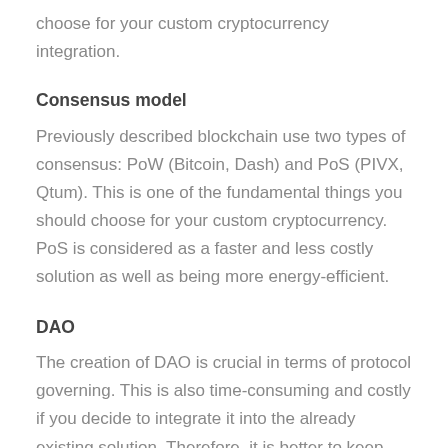choose for your custom cryptocurrency integration.
Consensus model
Previously described blockchain use two types of consensus: PoW (Bitcoin, Dash) and PoS (PIVX, Qtum). This is one of the fundamental things you should choose for your custom cryptocurrency. PoS is considered as a faster and less costly solution as well as being more energy-efficient.
DAO
The creation of DAO is crucial in terms of protocol governing. This is also time-consuming and costly if you decide to integrate it into the already existing solution. Therefore, it is better to keep your attention to the solutions that initially feature (PIVX, Dash)...